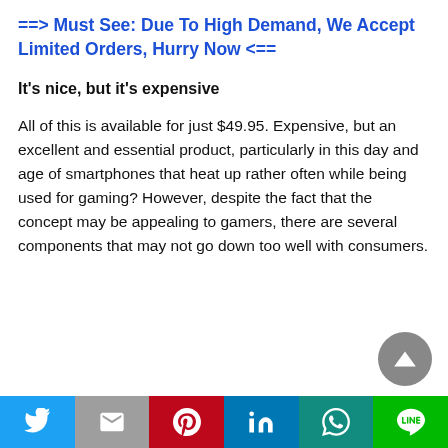==> Must See: Due To High Demand, We Accept Limited Orders, Hurry Now <==
It's nice, but it's expensive
All of this is available for just $49.95. Expensive, but an excellent and essential product, particularly in this day and age of smartphones that heat up rather often while being used for gaming? However, despite the fact that the concept may be appealing to gamers, there are several components that may not go down too well with consumers.
[Figure (other): Social media share bar with Twitter, Gmail, Pinterest, LinkedIn, WhatsApp, and LINE buttons]